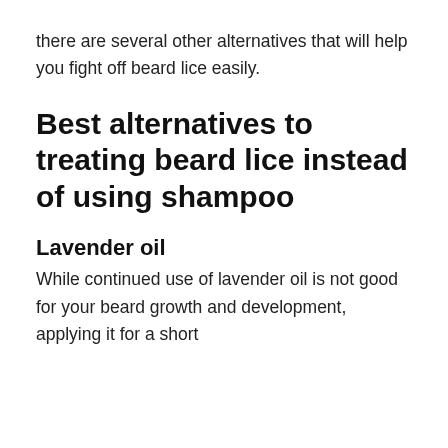there are several other alternatives that will help you fight off beard lice easily.
Best alternatives to treating beard lice instead of using shampoo
Lavender oil
While continued use of lavender oil is not good for your beard growth and development, applying it for a short